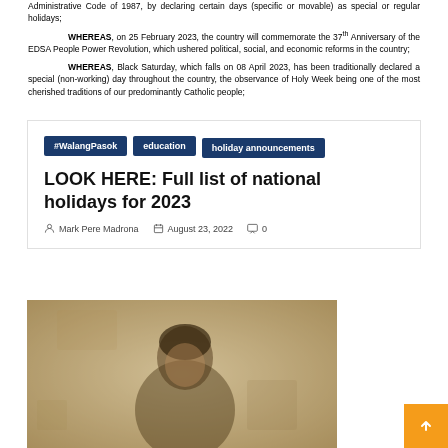Administrative Code of 1987, by declaring certain days (specific or movable) as special or regular holidays;
WHEREAS, on 25 February 2023, the country will commemorate the 37th Anniversary of the EDSA People Power Revolution, which ushered political, social, and economic reforms in the country;
WHEREAS, Black Saturday, which falls on 08 April 2023, has been traditionally declared a special (non-working) day throughout the country, the observance of Holy Week being one of the most cherished traditions of our predominantly Catholic people;
#WalangPasok
education
holiday announcements
LOOK HERE: Full list of national holidays for 2023
Mark Pere Madrona   August 23, 2022   0
[Figure (photo): Sepia-toned old photograph of a person, partially visible, with a vintage/aged appearance]